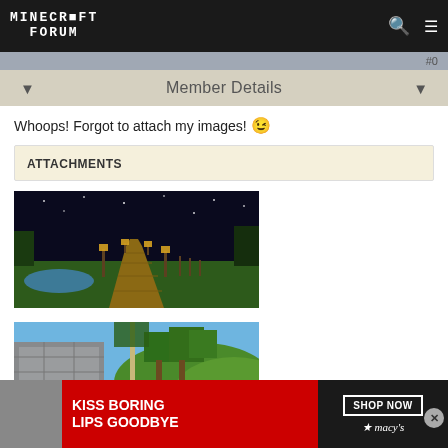Minecraft Forum
Member Details
Whoops! Forgot to attach my images! 😄
ATTACHMENTS
[Figure (screenshot): Minecraft screenshot showing a night scene with a wooden path and lanterns leading into the distance, grass and water visible]
[Figure (screenshot): Minecraft screenshot showing a daytime scene with trees, stone building on the left, and green hills]
[Figure (photo): Advertisement banner: Kiss Boring Lips Goodbye - Macy's Shop Now]